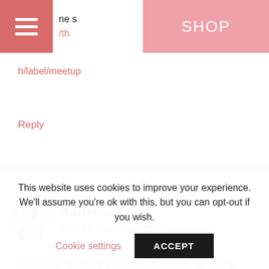ne s /th SHOP h/label/meetup
h/label/meetup
Reply
Barbara
June 28, 2012 at 1:54 pm
I've never heard of a cameo! It sounds seriously
This website uses cookies to improve your experience. We'll assume you're ok with this, but you can opt-out if you wish.
Cookie settings
ACCEPT